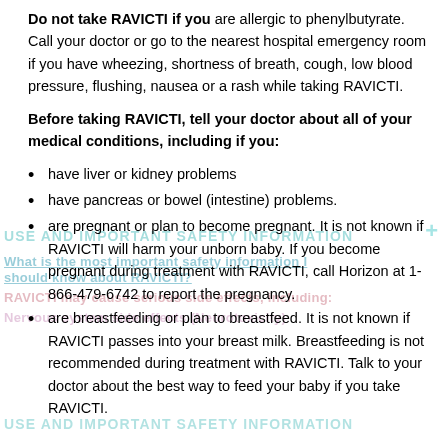Do not take RAVICTI if you are allergic to phenylbutyrate. Call your doctor or go to the nearest hospital emergency room if you have wheezing, shortness of breath, cough, low blood pressure, flushing, nausea or a rash while taking RAVICTI.
Before taking RAVICTI, tell your doctor about all of your medical conditions, including if you:
have liver or kidney problems
have pancreas or bowel (intestine) problems.
are pregnant or plan to become pregnant. It is not known if RAVICTI will harm your unborn baby. If you become pregnant during treatment with RAVICTI, call Horizon at 1-866-479-6742 to report the pregnancy.
are breastfeeding or plan to breastfeed. It is not known if RAVICTI passes into your breast milk. Breastfeeding is not recommended during treatment with RAVICTI. Talk to your doctor about the best way to feed your baby if you take RAVICTI.